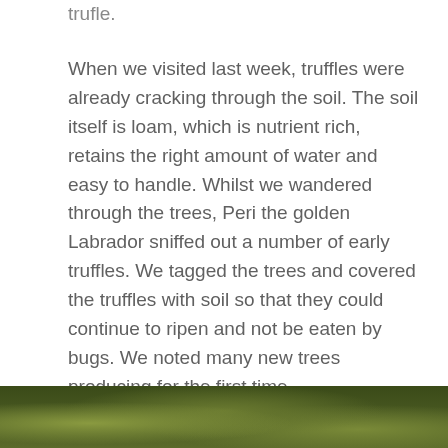trufle.
When we visited last week, truffles were already cracking through the soil. The soil itself is loam, which is nutrient rich, retains the right amount of water and easy to handle. Whilst we wandered through the trees, Peri the golden Labrador sniffed out a number of early truffles. We tagged the trees and covered the truffles with soil so that they could continue to ripen and not be eaten by bugs. We noted many new trees producing for the first time. Unsurprisingly, Dion expects his trees to produce even more fruit this year, due to a combination of perfect weather conditions + tree development and new trees producing.
[Figure (photo): Bottom strip of a photograph showing ground-level vegetation, likely the truffle orchard floor with grass and soil.]